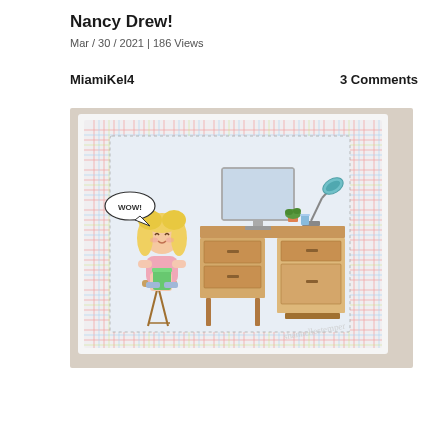Nancy Drew!
Mar / 30 / 2021 | 186 Views
MiamiKel4
3 Comments
[Figure (photo): A handmade greeting card featuring a cartoon girl with blonde curly hair sitting on a stool holding a green cup, with a speech bubble saying WOW!, in front of a wooden desk with a computer monitor, desk lamp, small potted plant and cup. The card background has a colorful plaid/tartan pattern border. Photo watermarked with 'shannellestemper'.]